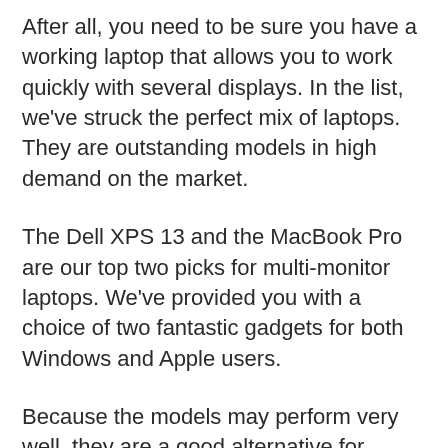After all, you need to be sure you have a working laptop that allows you to work quickly with several displays. In the list, we've struck the perfect mix of laptops. They are outstanding models in high demand on the market.
The Dell XPS 13 and the MacBook Pro are our top two picks for multi-monitor laptops. We've provided you with a choice of two fantastic gadgets for both Windows and Apple users.
Because the models may perform very well, they are a good alternative for increased production. Aside from the price, they have no disadvantages.